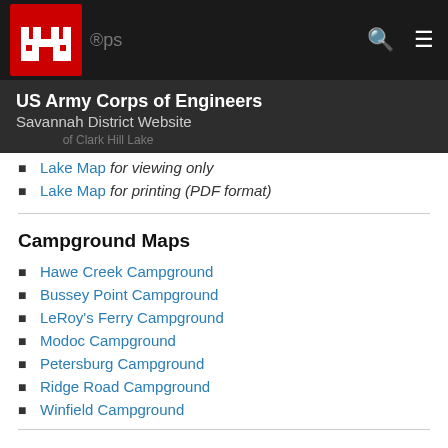US Army Corps of Engineers Savannah District Website
Lake Map for viewing only
Lake Map for printing (PDF format)
Campground Maps
Hawe Creek Campground
Bussey Point Campground
LeRoy's Ferry Campground
Modoc Campground
Petersburg Campground
Ridge Road Campground
Winfield Campground
Day Use Recreation Area Maps
Amity